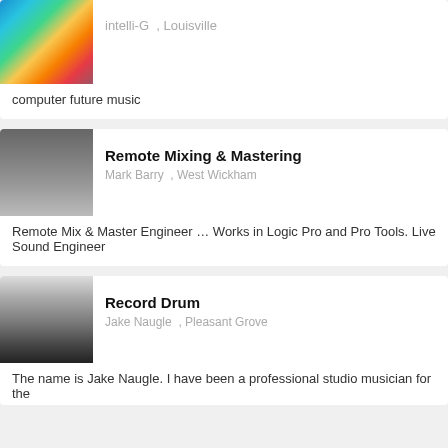[Figure (photo): Colorful psychedelic elephant artwork]
intelli-G , Louisville
computer future music
[Figure (photo): Black and white close-up face photo]
Remote Mixing & Mastering
Mark Barry , West Wickham
Remote Mix & Master Engineer … Works in Logic Pro and Pro Tools. Live Sound Engineer
[Figure (photo): Black and white photo of drummer playing drums with microphone stand]
Record Drum
Jake Naugle , Pleasant Grove
The name is Jake Naugle. I have been a professional studio musician for the